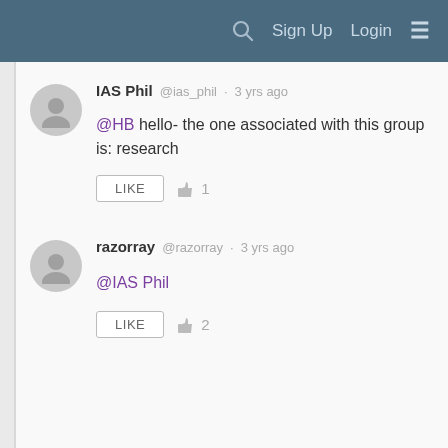Sign Up  Login
IAS Phil @ias_phil · 3 yrs ago
@HB hello- the one associated with this group is: research
LIKE 👍 1
razorray @razorray · 3 yrs ago
@IAS Phil
LIKE 👍 2